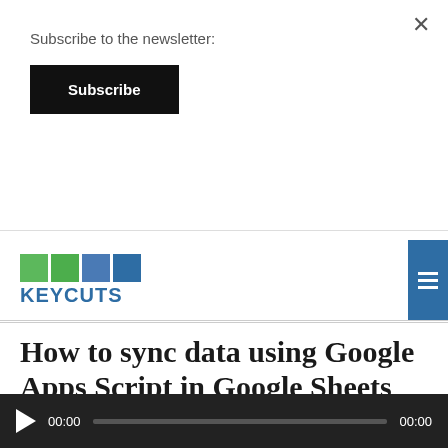Subscribe to the newsletter:
Subscribe
[Figure (logo): KEYCUTS logo with green and blue squares above the text KEYCUTS in blue]
How to sync data using Google Apps Script in Google Sheets
PODCAST   ADAM SAVAGE, DANIELLE MORRILL, DATA SYNC, ERIC KOLEDA, GOOGLE APPS SCRIPT, GOOGLE SHEETS, IMPORT DATA, PRODUCT HUNT RADIO, TIM FERRISS SHOW   4 COMMENTS
[Figure (screenshot): Audio player bar with play button, time 00:00 on left, progress bar, and 00:00 on right]